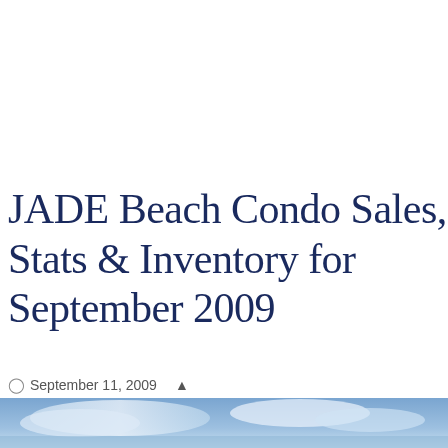JADE Beach Condo Sales, Stats & Inventory for September 2009
September 11, 2009   ashton@miamidreamrealty.com
[Figure (photo): Partial photo of a coastal/beach scene with blue sky and water visible at the bottom of the page]